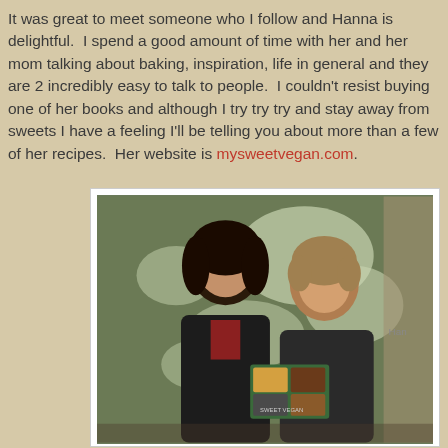It was great to meet someone who I follow and Hanna is delightful.  I spend a good amount of time with her and her mom talking about baking, inspiration, life in general and they are 2 incredibly easy to talk to people.  I couldn't resist buying one of her books and although I try try try and stay away from sweets I have a feeling I'll be telling you about more than a few of her recipes.  Her website is mysweetvegan.com.
[Figure (photo): Two women standing together smiling, one with dark curly hair wearing a dark jacket, the other with lighter curly hair wearing a dark t-shirt. The woman on the right is holding a book. Background shows a green and white decorative wall.]